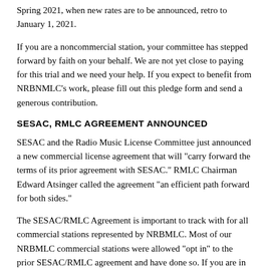Spring 2021, when new rates are to be announced, retro to January 1, 2021.
If you are a noncommercial station, your committee has stepped forward by faith on your behalf. We are not yet close to paying for this trial and we need your help. If you expect to benefit from NRBNMLC’s work, please fill out this pledge form and send a generous contribution.
SESAC, RMLC AGREEMENT ANNOUNCED
SESAC and the Radio Music License Committee just announced a new commercial license agreement that will “carry forward the terms of its prior agreement with SESAC.” RMLC Chairman Edward Atsinger called the agreement “an efficient path forward for both sides.”
The SESAC/RMLC Agreement is important to track with for all commercial stations represented by NRBMLC. Most of our NRBMLC commercial stations were allowed “opt in” to the prior SESAC/RMLC agreement and have done so. If you are in this group, you should have received instructions in your email regarding next steps. It’s important to note that your